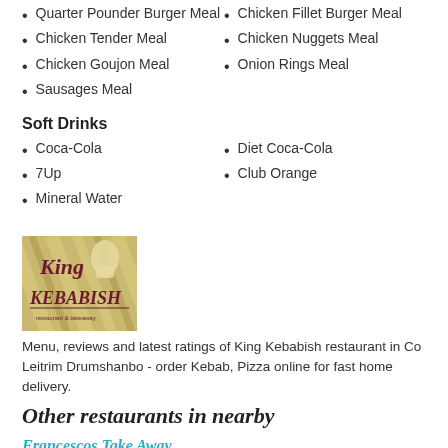Quarter Pounder Burger Meal
Chicken Fillet Burger Meal
Chicken Tender Meal
Chicken Nuggets Meal
Chicken Goujon Meal
Onion Rings Meal
Sausages Meal
Soft Drinks
Coca-Cola
Diet Coca-Cola
7Up
Club Orange
Mineral Water
[Figure (logo): King Kebabish restaurant logo with tan/gold striped background and dark red text]
Menu, reviews and latest ratings of King Kebabish restaurant in Co Leitrim Drumshanbo - order Kebab, Pizza online for fast home delivery.
Other restaurants in nearby
Francescos Take Away
Bridge Street
Big Johns
Main Street